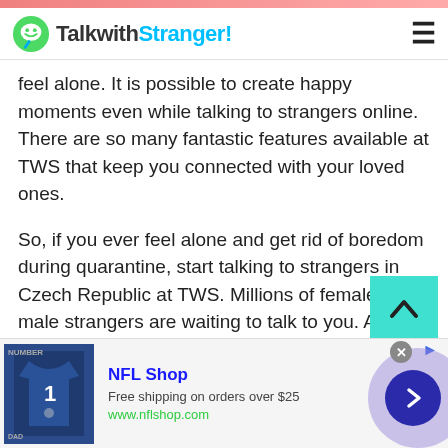TalkwithStranger!
feel alone. It is possible to create happy moments even while talking to strangers online. There are so many fantastic features available at TWS that keep you connected with your loved ones.
So, if you ever feel alone and get rid of boredom during quarantine, start talking to strangers in Czech Republic at TWS. Millions of female and male strangers are waiting to talk to you. All they want to share their feelings, secrets and suggestions with you.
[Figure (other): NFL Shop advertisement banner with Cowboys jersey image, showing 'Free shipping on orders over $25' and www.nflshop.com URL, with a blue arrow circle button on the right.]